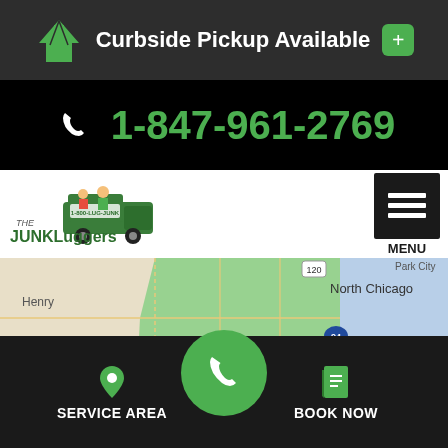Curbside Pickup Available
1-847-961-2769
[Figure (logo): The Junkluggers company logo with cartoon characters and green truck]
MENU
[Figure (map): Map of northern Illinois / Chicago suburban area showing service area highlighted in green, including North Chicago, Mundelein, Vernon Hills, Lake Forest, Lake Zurich, Highland Park]
SERVICE AREA
BOOK NOW